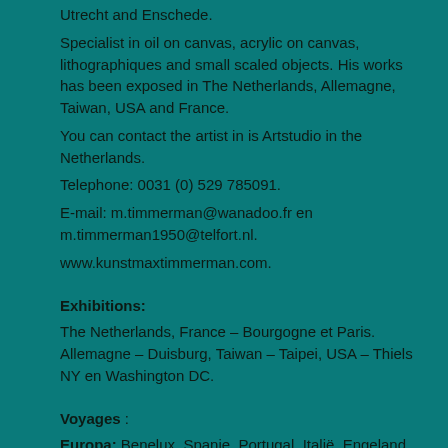Utrecht and Enschede.
Specialist in oil on canvas, acrylic on canvas, lithographiques and small scaled objects. His works has been exposed in The Netherlands, Allemagne, Taiwan, USA and France.
You can contact the artist in is Artstudio in the Netherlands.
Telephone: 0031 (0) 529 785091.
E-mail: m.timmerman@wanadoo.fr en m.timmerman1950@telfort.nl.
www.kunstmaxtimmerman.com.
Exhibitions:
The Netherlands, France – Bourgogne et Paris. Allemagne – Duisburg, Taiwan – Taipei, USA – Thiels NY en Washington DC.
Voyages :
Europa: Benelux, Spanje, Portugal, Italië, Engeland, Scotland, Zwitserland, Denemarken, Noorwegen.
Rusland: Moscow, Leningrad. Aruba. Brazilië: Rio de Janeiro, Sao Paulo, Araras, Foz de Iquacu.